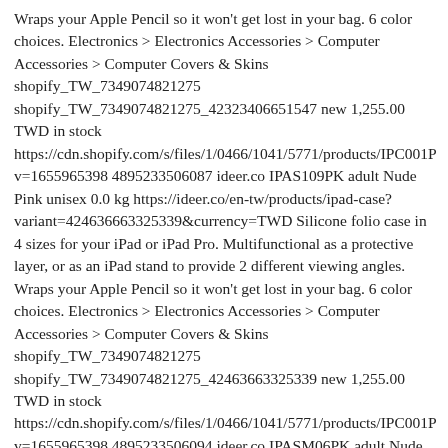Wraps your Apple Pencil so it won't get lost in your bag. 6 color choices. Electronics > Electronics Accessories > Computer Accessories > Computer Covers & Skins shopify_TW_7349074821275 shopify_TW_7349074821275_42323406651547 new 1,255.00 TWD in stock https://cdn.shopify.com/s/files/1/0466/1041/5771/products/IPC001P v=1655965398 4895233506087 ideer.co IPAS109PK adult Nude Pink unisex 0.0 kg https://ideer.co/en-tw/products/ipad-case?variant=424636663325339&currency=TWD Silicone folio case in 4 sizes for your iPad or iPad Pro. Multifunctional as a protective layer, or as an iPad stand to provide 2 different viewing angles. Wraps your Apple Pencil so it won't get lost in your bag. 6 color choices. Electronics > Electronics Accessories > Computer Accessories > Computer Covers & Skins shopify_TW_7349074821275 shopify_TW_7349074821275_42463663325339 new 1,255.00 TWD in stock https://cdn.shopify.com/s/files/1/0466/1041/5771/products/IPC001P v=1655965398 4895233506094 ideer.co IPASM06PK adult Nude Pink unisex 0.0 kg https://ideer.co/en-tw/products/ipad-case?variant=42323438862491&currency=TWD Silicone folio case in 4 sizes for your iPad or iPad Pro. Multifunctional as a protective layer, or as an iPad stand to provide 2 different viewing angles. Wraps your Apple Pencil so it won't get lost in your bag. 6 color